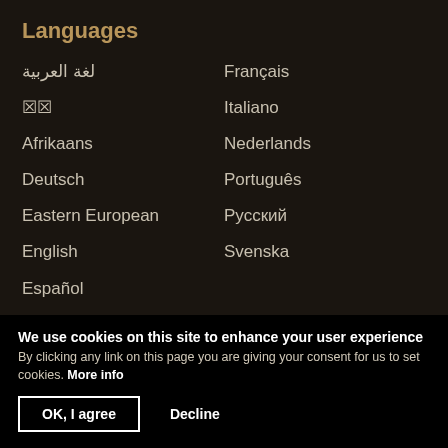Languages
لغة العربية
Français
🗵🗵
Italiano
Afrikaans
Nederlands
Deutsch
Português
Eastern European
Русский
English
Svenska
Español
International offices
Australia
Latin America
British Isles
Netherlands
Canada
New Zealand
Caribbean
Nigeria
France
Philippines
Germany
South Africa
Italy
We use cookies on this site to enhance your user experience
By clicking any link on this page you are giving your consent for us to set cookies. More info
OK, I agree   Decline